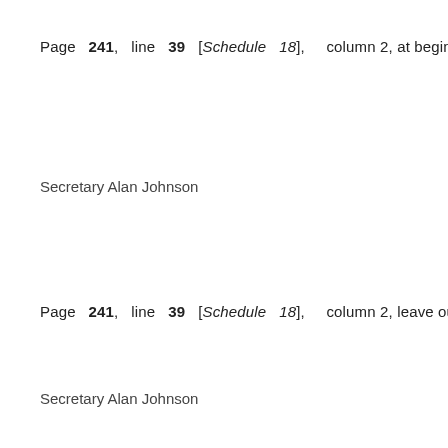Page 241, line 39 [Schedule 18], column 2, at beginning
Secretary Alan Johnson
Page 241, line 39 [Schedule 18], column 2, leave out 'pa
Secretary Alan Johnson
Page 241, line 47 [Schedule 18], column 2, at end insert
Secretary Alan Johnson
*Page 243, line 4, column 2 [Schedule 18], leave ou
Secretary Alan Johnson